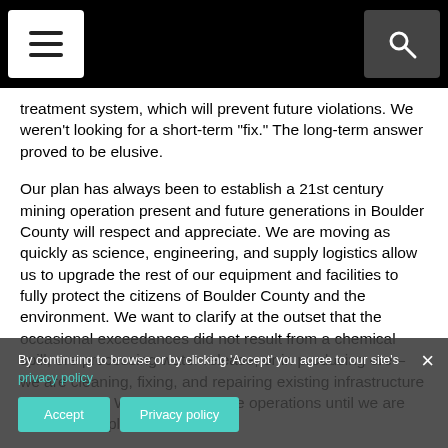Navigation header with menu and search buttons
treatment system, which will prevent future violations. We weren't looking for a short-term “fix.” The long-term answer proved to be elusive.
Our plan has always been to establish a 21st century mining operation present and future generations in Boulder County will respect and appreciate. We are moving as quickly as science, engineering, and supply logistics allow us to upgrade the rest of our equipment and facilities to fully protect the citizens of Boulder County and the environment. We want to clarify at the outset that the occasional exceedances did not result from a chemical spill, ore processing water release, or in producing ore – we are cleaning, fixing, and repairing existing infrastructure and facilities. We will not resume operations until we are certain all applicable safety and
By continuing to browse or by clicking 'Accept' you agree to our site's privacy policy
Accept   Privacy policy   ×